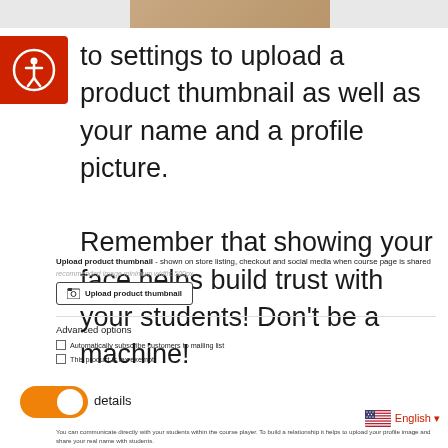[Figure (screenshot): Top image strip showing a partial view of a person]
[Figure (logo): Red accessibility icon with person in circle]
to settings to upload a product thumbnail as well as your name and a profile picture.

Remember that showing your face helps build trust with your students! Don't be a machine!
Upload product thumbnail - shown on store listing, checkout and social media when course page is shared
recommended image minimum width: 500px
[Figure (screenshot): Upload product thumbnail button with image icon]
Advanced options
Automatically subscribe customers to mailing list
This product is tax exempt
[Figure (screenshot): Orange toggle switch in on position]
details
[Figure (screenshot): US flag icon with English language selector]
You can communicate directly with your students within the course player. To build a relationship it helps to upload your profile image and share your real name with students.